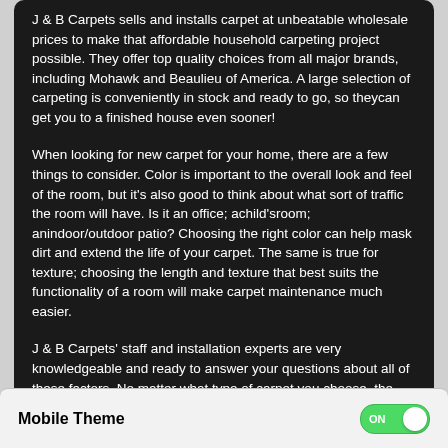J & B Carpets sells and installs carpet at unbeatable wholesale prices to make that affordable household carpeting project possible. They offer top quality choices from all major brands, including Mohawk and Beaulieu of America. A large selection of carpeting is conveniently in stock and ready to go, so theycan get you to a finished house even sooner!
When looking for new carpet for your home, there are a few things to consider. Color is important to the overall look and feel of the room, but it's also good to think about what sort of traffic the room will have. Is it an office; achild'sroom; anindoor/outdoor patio? Choosing the right color can help mask dirt and extend the life of your carpet. The same is true for texture; choosing the length and texture that best suits the functionality of a room will make carpet maintenance much easier.
J & B Carpets' staff and installation experts are very knowledgeable and ready to answer your questions about all of these factors. No matter what type of carpet you choose, the installation space, or your budget, J & B Carpets in Phoenix can work with you to find the best solution. Contact them today to learn more about their carpet selection and new carpet installation! They can't wait to hear from you.
Mobile Theme